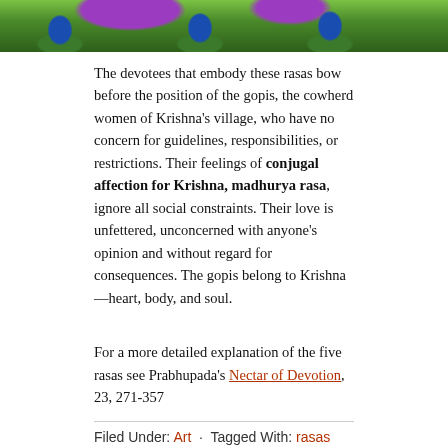[Figure (photo): Top portion of a decorative illustration showing peacocks and colorful flowers/foliage (purple, green) in a lush garden setting with blue peacocks visible.]
The devotees that embody these rasas bow before the position of the gopis, the cowherd women of Krishna's village, who have no concern for guidelines, responsibilities, or restrictions. Their feelings of conjugal affection for Krishna, madhurya rasa, ignore all social constraints. Their love is unfettered, unconcerned with anyone's opinion and without regard for consequences. The gopis belong to Krishna—heart, body, and soul.
For a more detailed explanation of the five rasas see Prabhupada's Nectar of Devotion, 23, 271-357
Filed Under: Art · Tagged With: rasas